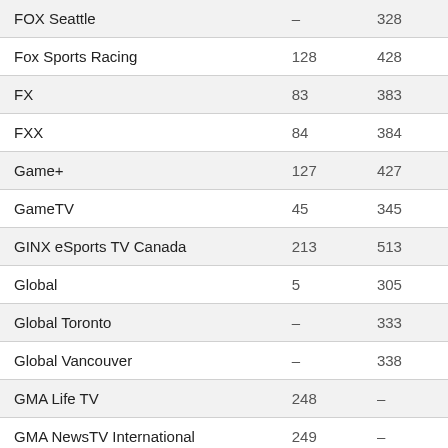| FOX Seattle | – | 328 |
| Fox Sports Racing | 128 | 428 |
| FX | 83 | 383 |
| FXX | 84 | 384 |
| Game+ | 127 | 427 |
| GameTV | 45 | 345 |
| GINX eSports TV Canada | 213 | 513 |
| Global | 5 | 305 |
| Global Toronto | – | 333 |
| Global Vancouver | – | 338 |
| GMA Life TV | 248 | – |
| GMA NewsTV International | 249 | – |